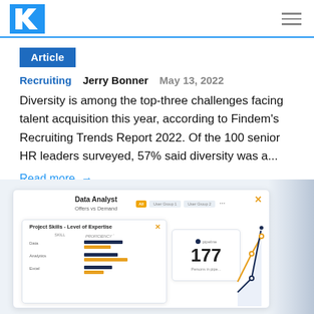R [logo] [hamburger menu]
Article
Recruiting  Jerry Bonner  May 13, 2022
Diversity is among the top-three challenges facing talent acquisition this year, according to Findem's Recruiting Trends Report 2022. Of the 100 senior HR leaders surveyed, 57% said diversity was a...
Read more →
[Figure (screenshot): Screenshot of a recruiting analytics dashboard showing 'Data Analyst' with 'Offers vs Demand', a 'Project Skills - Level of Expertise' panel with bar charts, a stat card showing '177', and a line chart on the right.]